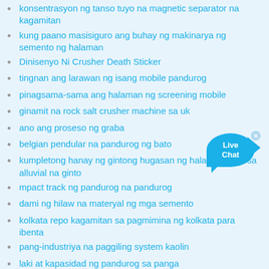konsentrasyon ng tanso tuyo na magnetic separator na kagamitan
kung paano masisiguro ang buhay ng makinarya ng semento ng halaman
Dinisenyo Ni Crusher Death Sticker
tingnan ang larawan ng isang mobile pandurog
pinagsama-sama ang halaman ng screening mobile
ginamit na rock salt crusher machine sa uk
ano ang proseso ng graba
belgian pendular na pandurog ng bato
kumpletong hanay ng gintong hugasan ng halaman para sa alluvial na ginto
mpact track ng pandurog na pandurog
dami ng hilaw na materyal ng mga semento
kolkata repo kagamitan sa pagmimina ng kolkata para ibenta
pang-industriya na paggiling system kaolin
laki at kapasidad ng pandurog sa panga
industriya ng paghahagis bato pandurog ng india
pagganap ng magnetic separator
kung paano magtatag ng halaman ng pandurog ng bato
uri ng paggiling mica
bago at ginamit kongkreto kagamitan para sa pagbebenta ng